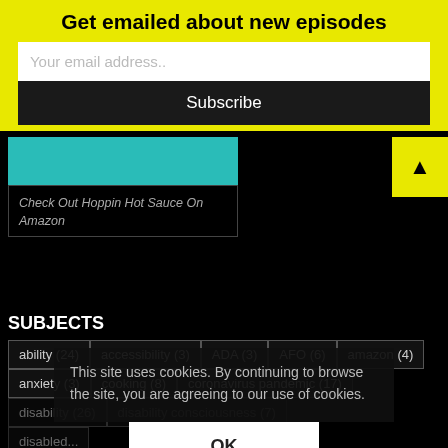Get emailed about new episodes
Your email address..
Subscribe
Check Out Hoppin Hot Sauce On Amazon
SUBJECTS
ability (24)
accessibility (3)
ADA (3)
AFO (6)
amazon (4)
anxiety (3)
cooking (8)
coronavirus pandemic (17)
disability (26)
disability consciousness (7)
disabled...
health (26)
Hoppin Hot Sauce
...ation (3)
kfjc (12)
kids (4)
medication (3)
medicine (3)
This site uses cookies. By continuing to browse the site, you are agreeing to our use of cookies.
OK